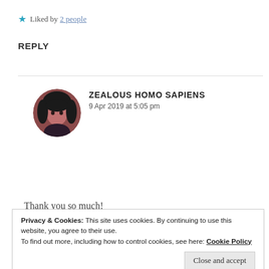★ Liked by 2 people
REPLY
ZEALOUS HOMO SAPIENS
9 Apr 2019 at 5:05 pm
Thank you so much!
★ Liked by 1 person
Privacy & Cookies: This site uses cookies. By continuing to use this website, you agree to their use.
To find out more, including how to control cookies, see here: Cookie Policy
Close and accept
RAVISINGH